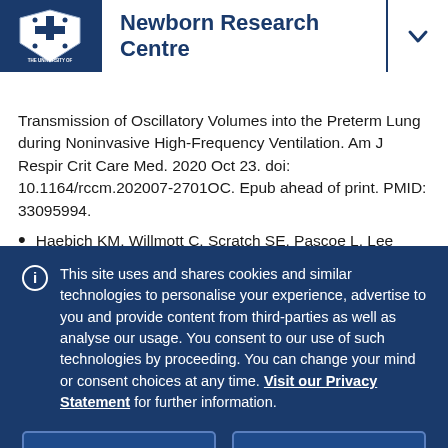Newborn Research Centre
Transmission of Oscillatory Volumes into the Preterm Lung during Noninvasive High-Frequency Ventilation. Am J Respir Crit Care Med. 2020 Oct 23. doi: 10.1164/rccm.202007-2701OC. Epub ahead of print. PMID: 33095994.
Haebich KM, Willmott C, Scratch SE, Pascoe L, Lee
This site uses and shares cookies and similar technologies to personalise your experience, advertise to you and provide content from third-parties as well as analyse our usage. You consent to our use of such technologies by proceeding. You can change your mind or consent choices at any time. Visit our Privacy Statement for further information.